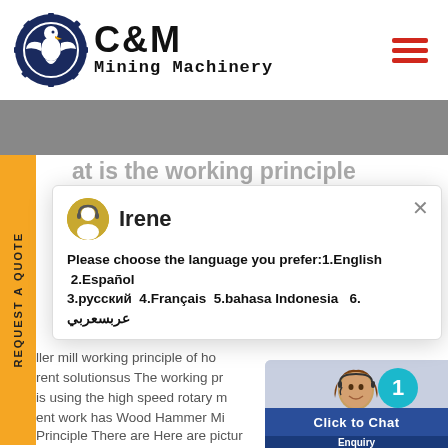[Figure (logo): C&M Mining Machinery logo with eagle gear emblem in navy blue, text 'C&M Mining Machinery']
[Figure (screenshot): Gray banner/hero image area partially visible]
at is the working principle
[Figure (screenshot): Live chat popup with agent Irene. Language selection message: 'Please choose the language you prefer:1.English  2.Español  3.русский  4.Français  5.bahasa Indonesia  6. عربسعربي']
ller mill working principle of ho
rent solutionsus The working pr
is using the high speed rotary m
ent work has Wood Hammer Mi
Principle There are Here are pictur
Micro Lathe and Taig Milling Machin
machines and other Taig users ma
[Figure (photo): Customer service representative with headset smiling, with teal circle badge showing number 1]
Click to Chat
Enquiry